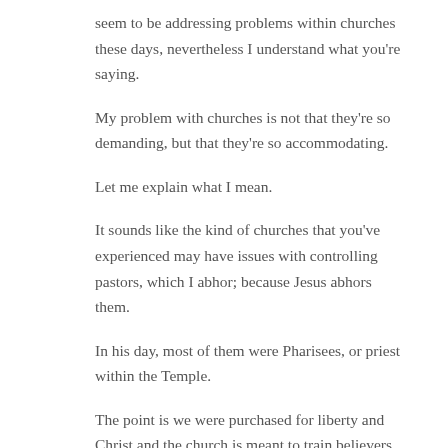seem to be addressing problems within churches these days, nevertheless I understand what you're saying.
My problem with churches is not that they're so demanding, but that they're so accommodating.
Let me explain what I mean.
It sounds like the kind of churches that you've experienced may have issues with controlling pastors, which I abhor; because Jesus abhors them.
In his day, most of them were Pharisees, or priest within the Temple.
The point is we were purchased for liberty and Christ and the church is meant to train believers so that they can go out the other six days and function as Jesus Christ hands extended to a dying and lost world.